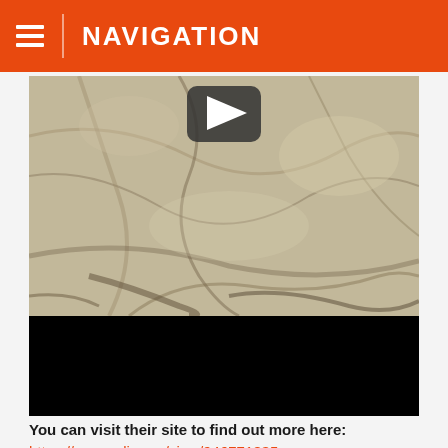NAVIGATION
[Figure (screenshot): Video thumbnail showing marble/stone texture with a play button overlay at the top center, and a black bar at the bottom portion of the video player.]
You can visit their site to find out more here:
https://www.relive.cc/view/946771835